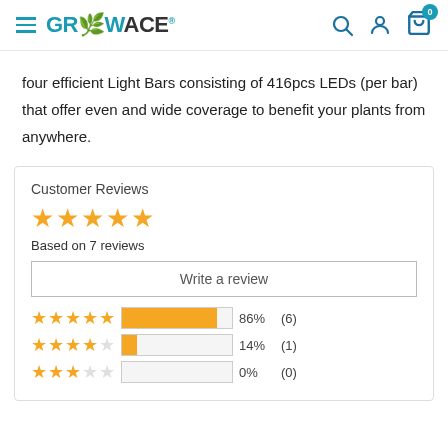[Figure (logo): GrowAce logo with teal/cyan color and navigation icons (hamburger menu, search, account, cart with 0 badge)]
four efficient Light Bars consisting of 416pcs LEDs (per bar) that offer even and wide coverage to benefit your plants from anywhere.
Customer Reviews
Based on 7 reviews
Write a review
| Stars | Bar | Percent | Count |
| --- | --- | --- | --- |
| 5 stars | 86% | 86% | (6) |
| 4 stars | 14% | 14% | (1) |
| 3 stars | 0% | 0% | (0) |